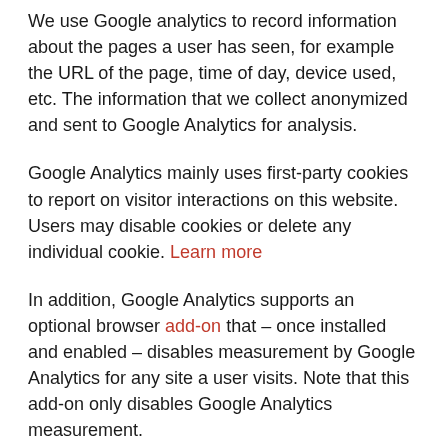We use Google analytics to record information about the pages a user has seen, for example the URL of the page, time of day, device used, etc. The information that we collect anonymized and sent to Google Analytics for analysis.
Google Analytics mainly uses first-party cookies to report on visitor interactions on this website. Users may disable cookies or delete any individual cookie. Learn more
In addition, Google Analytics supports an optional browser add-on that – once installed and enabled – disables measurement by Google Analytics for any site a user visits. Note that this add-on only disables Google Analytics measurement.
Google Analytics also collects Internet Protocol (IP) addresses to provide and protect the security of the